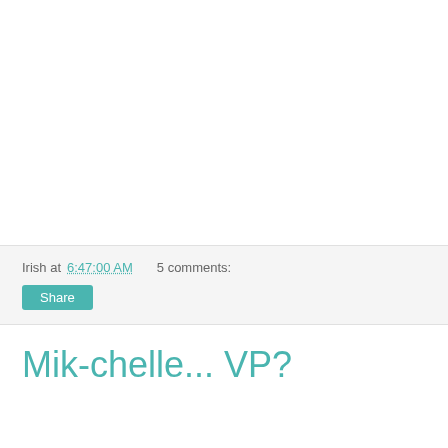Irish at 6:47:00 AM   5 comments:
Share
Mik-chelle... VP?